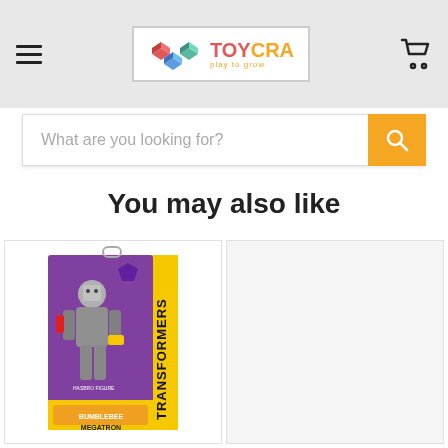TOYCRA play to grow — navigation header with hamburger menu and cart icon
What are you looking for?
You may also like
[Figure (photo): Transformers Bumblebee Cyberverse Adventures Megatron action figure product packaging — yellow and purple box showing Megatron robot figure]
[Figure (photo): Partially visible second product card with light grey background — product image not fully visible]